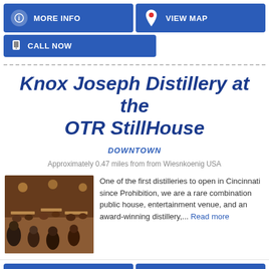[Figure (screenshot): Two blue button rows at top: MORE INFO and VIEW MAP buttons, then CALL NOW button]
Knox Joseph Distillery at the OTR StillHouse
DOWNTOWN
Approximately 0.47 miles from from Wiesnkoenig USA
[Figure (photo): Interior of a distillery/bar with people seated at tables, warm lighting]
One of the first distilleries to open in Cincinnati since Prohibition, we are a rare combination public house, entertainment venue, and an award-winning distillery,... Read more
[Figure (screenshot): Bottom navigation buttons: MORE INFO and VIEW MAP]